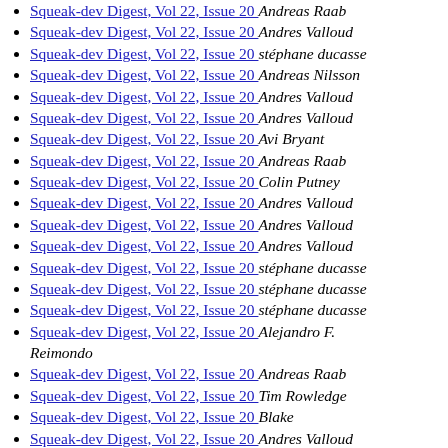Squeak-dev Digest, Vol 22, Issue 20  Andreas Raab
Squeak-dev Digest, Vol 22, Issue 20  Andres Valloud
Squeak-dev Digest, Vol 22, Issue 20  stéphane ducasse
Squeak-dev Digest, Vol 22, Issue 20  Andreas Nilsson
Squeak-dev Digest, Vol 22, Issue 20  Andres Valloud
Squeak-dev Digest, Vol 22, Issue 20  Andres Valloud
Squeak-dev Digest, Vol 22, Issue 20  Avi Bryant
Squeak-dev Digest, Vol 22, Issue 20  Andreas Raab
Squeak-dev Digest, Vol 22, Issue 20  Colin Putney
Squeak-dev Digest, Vol 22, Issue 20  Andres Valloud
Squeak-dev Digest, Vol 22, Issue 20  Andres Valloud
Squeak-dev Digest, Vol 22, Issue 20  Andres Valloud
Squeak-dev Digest, Vol 22, Issue 20  stéphane ducasse
Squeak-dev Digest, Vol 22, Issue 20  stéphane ducasse
Squeak-dev Digest, Vol 22, Issue 20  stéphane ducasse
Squeak-dev Digest, Vol 22, Issue 20  Alejandro F. Reimondo
Squeak-dev Digest, Vol 22, Issue 20  Andreas Raab
Squeak-dev Digest, Vol 22, Issue 20  Tim Rowledge
Squeak-dev Digest, Vol 22, Issue 20  Blake
Squeak-dev Digest, Vol 22, Issue 20  Andres Valloud
Squeak-dev Digest, Vol 22, Issue 20  Andreas Raab
Squeak-dev Digest, Vol 22, Issue 20  Alejandro F. Reimondo
Squeak-dev Digest, Vol 22, Issue 20  stéphane ducasse